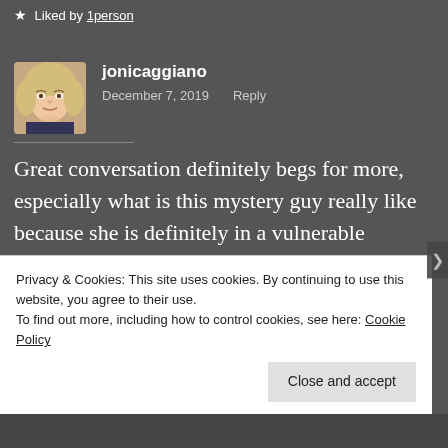★ Liked by 1person
[Figure (photo): Avatar photo of commenter jonicaggiano — a woman with short blonde hair]
jonicaggiano
December 7, 2019    Reply
Great conversation definitely begs for more, especially what is this mystery guy really like because she is definitely in a vulnerable position. I can certainly relate to the over thinking issue. I like
Privacy & Cookies: This site uses cookies. By continuing to use this website, you agree to their use.
To find out more, including how to control cookies, see here: Cookie Policy
Close and accept